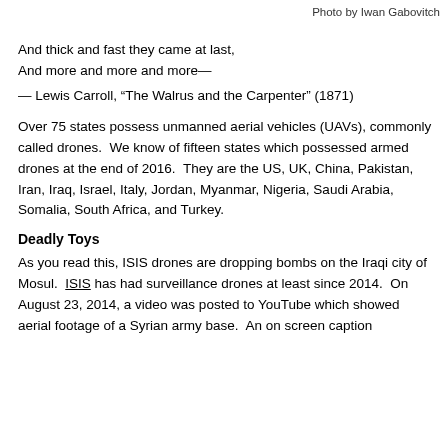Photo by Iwan Gabovitch
And thick and fast they came at last,
And more and more and more—
— Lewis Carroll, “The Walrus and the Carpenter” (1871)
Over 75 states possess unmanned aerial vehicles (UAVs), commonly called drones.  We know of fifteen states which possessed armed drones at the end of 2016.  They are the US, UK, China, Pakistan, Iran, Iraq, Israel, Italy, Jordan, Myanmar, Nigeria, Saudi Arabia, Somalia, South Africa, and Turkey.
Deadly Toys
As you read this, ISIS drones are dropping bombs on the Iraqi city of Mosul.  ISIS has had surveillance drones at least since 2014.  On August 23, 2014, a video was posted to YouTube which showed aerial footage of a Syrian army base.  An on screen caption